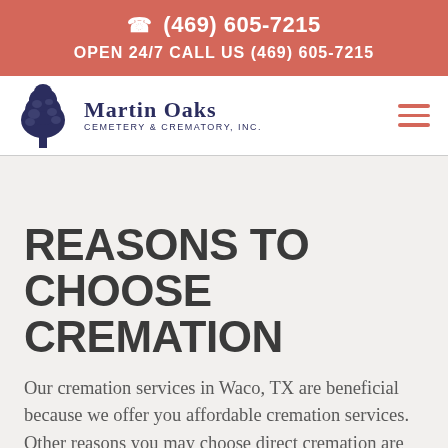☎ (469) 605-7215
OPEN 24/7 CALL US (469) 605-7215
[Figure (logo): Martin Oaks Cemetery & Crematory, Inc. logo with tree icon]
REASONS TO CHOOSE CREMATION
Our cremation services in Waco, TX are beneficial because we offer you affordable cremation services. Other reasons you may choose direct cremation are that the deceased requested it